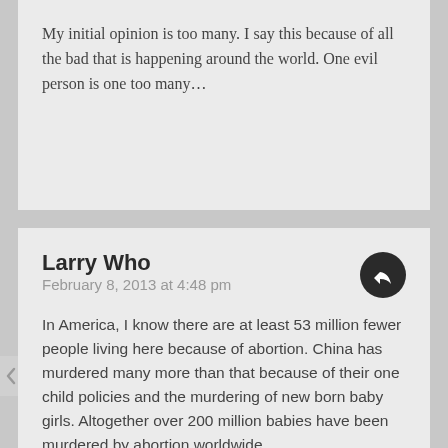My initial opinion is too many. I say this because of all the bad that is happening around the world. One evil person is one too many…
Larry Who
February 8, 2013 at 4:48 pm
In America, I know there are at least 53 million fewer people living here because of abortion. China has murdered many more than that because of their one child policies and the murdering of new born baby girls. Altogether over 200 million babies have been murdered by abortion worldwide.
Was it limited vision or selfishness which caused these deaths? Probably in part, but more than that, Satan killed them. He hates God and His creation.
The greatest deception of all time is that God